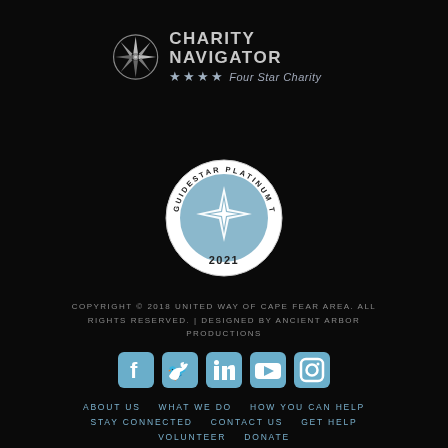[Figure (logo): Charity Navigator Four Star Charity badge with compass rose logo]
[Figure (logo): GuideStar Platinum Transparency 2021 seal]
COPYRIGHT © 2018 UNITED WAY OF CAPE FEAR AREA. ALL RIGHTS RESERVED. | DESIGNED BY ANCIENT ARBOR PRODUCTIONS
[Figure (infographic): Social media icons: Facebook, Twitter, LinkedIn, YouTube, Instagram]
ABOUT US
WHAT WE DO
HOW YOU CAN HELP
STAY CONNECTED
CONTACT US
GET HELP
VOLUNTEER
DONATE